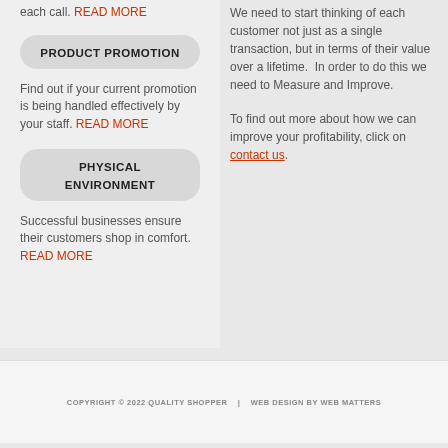each call. READ MORE
PRODUCT PROMOTION
Find out if your current promotion is being handled effectively by your staff. READ MORE
PHYSICAL ENVIRONMENT
Successful businesses ensure their customers shop in comfort. READ MORE
We need to start thinking of each customer not just as a single transaction, but in terms of their value over a lifetime.  In order to do this we need to Measure and Improve.
To find out more about how we can improve your profitability, click on contact us.
COPYRIGHT © 2022 QUALITY SHOPPER   |   WEB DESIGN BY WEB MATTERS